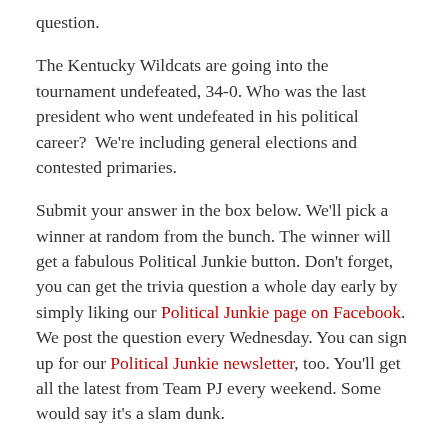question.
The Kentucky Wildcats are going into the tournament undefeated, 34-0. Who was the last president who went undefeated in his political career?  We're including general elections and contested primaries.
Submit your answer in the box below. We'll pick a winner at random from the bunch. The winner will get a fabulous Political Junkie button. Don't forget, you can get the trivia question a whole day early by simply liking our Political Junkie page on Facebook. We post the question every Wednesday. You can sign up for our Political Junkie newsletter, too. You'll get all the latest from Team PJ every weekend. Some would say it's a slam dunk.